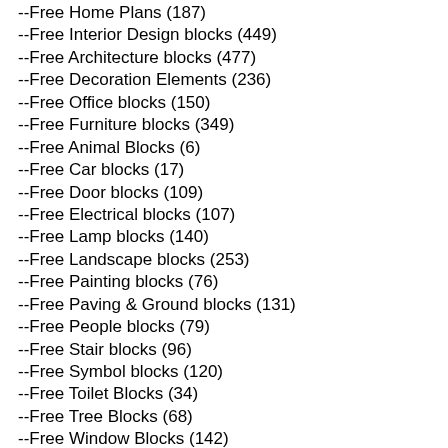--Free Home Plans (187)
--Free Interior Design blocks (449)
--Free Architecture blocks (477)
--Free Decoration Elements (236)
--Free Office blocks (150)
--Free Furniture blocks (349)
--Free Animal Blocks (6)
--Free Car blocks (17)
--Free Door blocks (109)
--Free Electrical blocks (107)
--Free Lamp blocks (140)
--Free Landscape blocks (253)
--Free Painting blocks (76)
--Free Paving & Ground blocks (131)
--Free People blocks (79)
--Free Stair blocks (96)
--Free Symbol blocks (120)
--Free Toilet Blocks (34)
--Free Tree Blocks (68)
--Free Window Blocks (142)
Famous Architecture Projects (53)